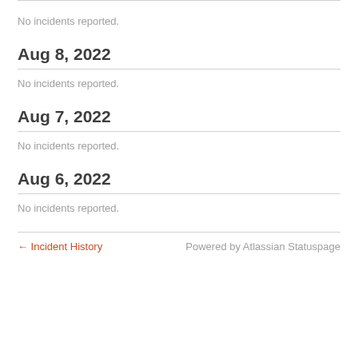No incidents reported.
Aug 8, 2022
No incidents reported.
Aug 7, 2022
No incidents reported.
Aug 6, 2022
No incidents reported.
← Incident History   Powered by Atlassian Statuspage